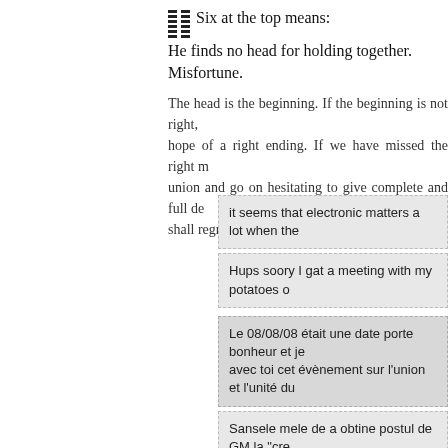≡≡ Six at the top means:
He finds no head for holding together.
Misfortune.
The head is the beginning. If the beginning is not right, there is no hope of a right ending. If we have missed the right moment for union and go on hesitating to give complete and full devotion, we shall regret the error when it is too late.
it seems that electronic matters a lot when the
Hups soory I gat a meeting with my potatoes o
Le 08/08/08 était une date porte bonheur et je avec toi cet évènement sur l'union et l'unité du
Sansele mele de a obtine postul de GM la "cre
love sent
evol sent f 9 2 7
evol rel h f 29 01 07